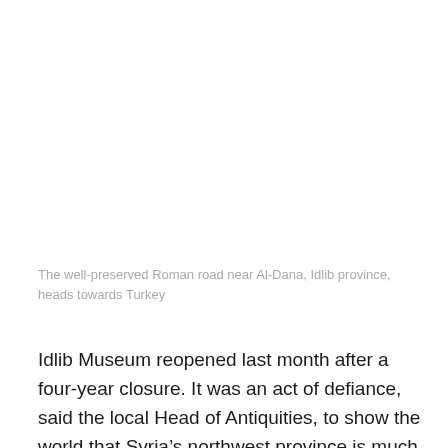[Figure (photo): Large image area showing the well-preserved Roman road near Al-Dana, Idlib province (image content not visible in this portion)]
The well-preserved Roman road near Al-Dana, Idlib province, heads towards Turkey
Idlib Museum reopened last month after a four-year closure. It was an act of defiance, said the local Head of Antiquities, to show the world that Syria’s northwest province is much more than a “hotbed of terrorists” and “festering abscess”, as Russia’s Foreign Minister Sergey